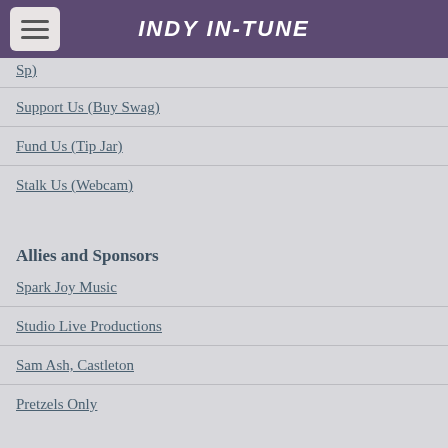INDY IN-TUNE
Support Us (Buy Swag)
Fund Us (Tip Jar)
Stalk Us (Webcam)
Allies and Sponsors
Spark Joy Music
Studio Live Productions
Sam Ash, Castleton
Pretzels Only